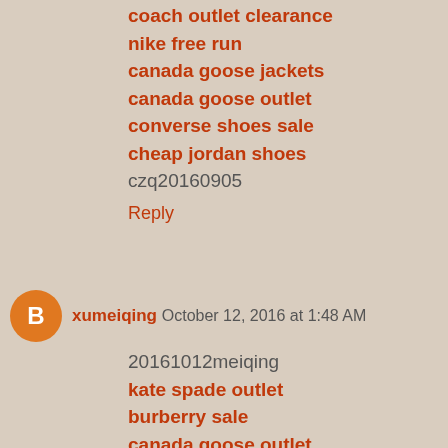coach outlet clearance
nike free run
canada goose jackets
canada goose outlet
converse shoes sale
cheap jordan shoes
czq20160905
Reply
xumeiqing October 12, 2016 at 1:48 AM
20161012meiqing
kate spade outlet
burberry sale
canada goose outlet
ray ban sunglasses outlet
louis vuitton handbags
louboutin uk
coach outlet
oakley sunglasses
pandora outlet